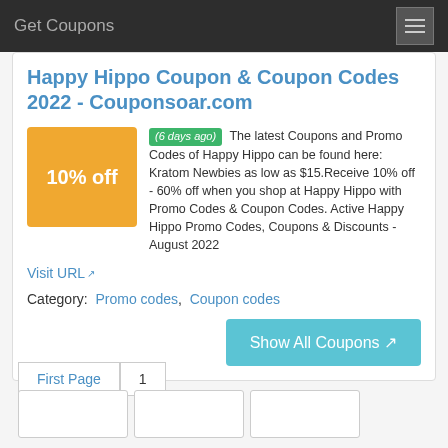Get Coupons
Happy Hippo Coupon & Coupon Codes 2022 - Couponsoar.com
(6 days ago) The latest Coupons and Promo Codes of Happy Hippo can be found here: Kratom Newbies as low as $15.Receive 10% off - 60% off when you shop at Happy Hippo with Promo Codes & Coupon Codes. Active Happy Hippo Promo Codes, Coupons & Discounts - August 2022
Visit URL
Category:  Promo codes,  Coupon codes
Show All Coupons
First Page  1